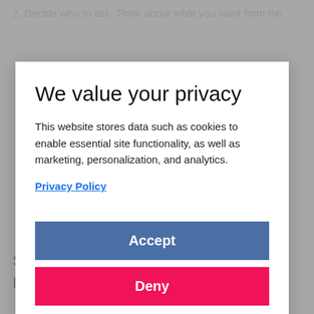2. Decide who to ask. Think about what you want from the
We value your privacy
This website stores data such as cookies to enable essential site functionality, as well as marketing, personalization, and analytics.
Privacy Policy
Accept
Deny
Start your free trial today to browse The Key Leaders and unlock 3 articles.